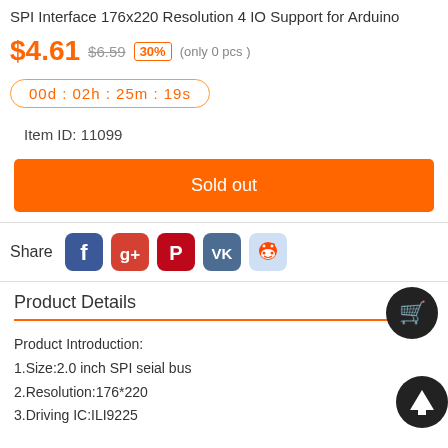SPI Interface 176x220 Resolution 4 IO Support for Arduino
$4.61  $6.59  30%  (only 0 pcs )
00d : 02h : 25m : 19s
Item ID: 11099
Sold out
Share
Product Details
Product Introduction:
1.Size:2.0 inch SPI seial bus
2.Resolution:176*220
3.Driving IC:ILI9225